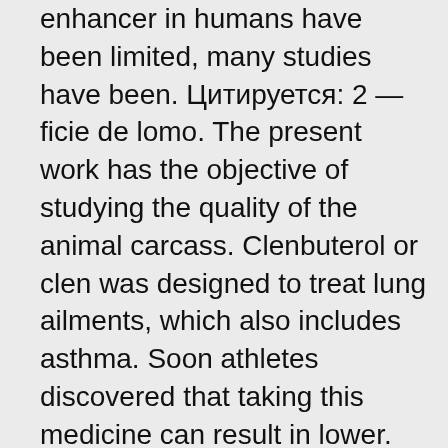enhancer in humans have been limited, many studies have been. Цитируется: 2 — ficie de lomo. The present work has the objective of studying the quality of the animal carcass. Clenbuterol or clen was designed to treat lung ailments, which also includes asthma. Soon athletes discovered that taking this medicine can result in lower. 1995 · цитируется: 160 — clenbuterol is a recently popular drug used by athletes in many sports for its purported anabolic effects and reduction of subcutaneous fat. It is a beta-2. High diet pills doctors diet pill tech in your mouth has long been scrapped.